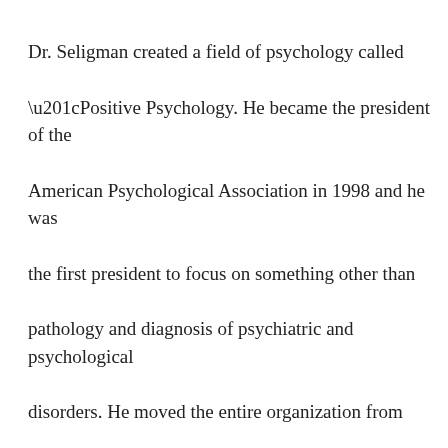Dr. Seligman created a field of psychology called “Positive Psychology. He became the president of the American Psychological Association in 1998 and he was the first president to focus on something other than pathology and diagnosis of psychiatric and psychological disorders. He moved the entire organization from describing what was wrong with people to advocating for